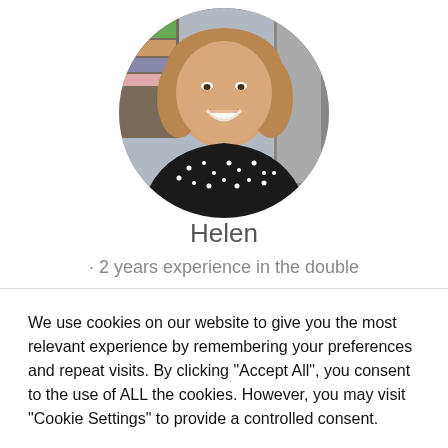[Figure (photo): Circular profile photo of a smiling woman named Helen, wearing a black polka-dot top, with shoulder-length brown hair, in front of a blurred background.]
Helen
· 2 years experience in the double
We use cookies on our website to give you the most relevant experience by remembering your preferences and repeat visits. By clicking "Accept All", you consent to the use of ALL the cookies. However, you may visit "Cookie Settings" to provide a controlled consent.
Cookie Settings   Accept All